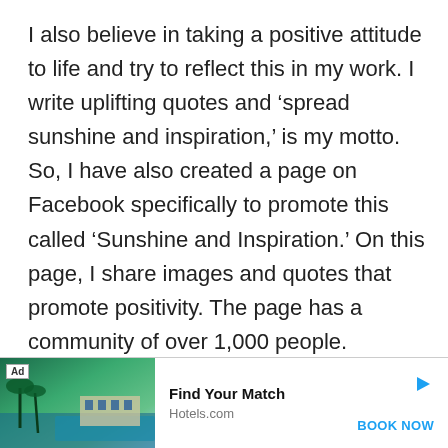I also believe in taking a positive attitude to life and try to reflect this in my work. I write uplifting quotes and 'spread sunshine and inspiration,' is my motto. So, I have also created a page on Facebook specifically to promote this called 'Sunshine and Inspiration.' On this page, I share images and quotes that promote positivity. The page has a community of over 1,000 people.
[Figure (infographic): Advertisement banner: Ad badge over a tropical resort pool image. Text: 'Find Your Match', 'Hotels.com', 'BOOK NOW' with a play arrow icon.]